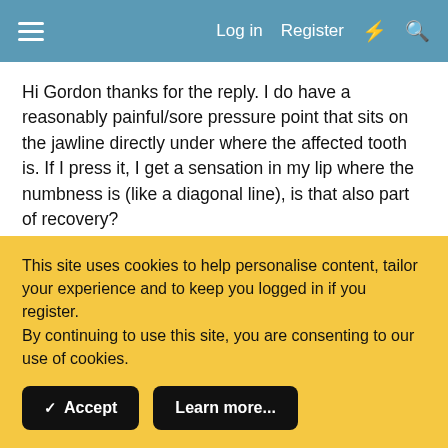Log in  Register
Hi Gordon thanks for the reply. I do have a reasonably painful/sore pressure point that sits on the jawline directly under where the affected tooth is. If I press it, I get a sensation in my lip where the numbness is (like a diagonal line), is that also part of recovery?
The prickly sensation doesn't happen all the time but it's definitely a different sensation to just having an itch in my beard.
'Dr Google' (something I shouldn't have done) is shocking
This site uses cookies to help personalise content, tailor your experience and to keep you logged in if you register.
By continuing to use this site, you are consenting to our use of cookies.